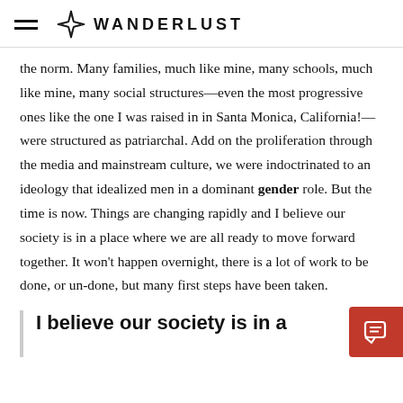WANDERLUST
the norm. Many families, much like mine, many schools, much like mine, many social structures—even the most progressive ones like the one I was raised in in Santa Monica, California!—were structured as patriarchal. Add on the proliferation through the media and mainstream culture, we were indoctrinated to an ideology that idealized men in a dominant gender role. But the time is now. Things are changing rapidly and I believe our society is in a place where we are all ready to move forward together. It won't happen overnight, there is a lot of work to be done, or un-done, but many first steps have been taken.
I believe our society is in a